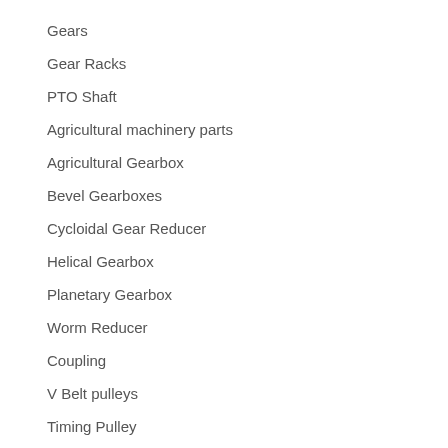Gears
Gear Racks
PTO Shaft
Agricultural machinery parts
Agricultural Gearbox
Bevel Gearboxes
Cycloidal Gear Reducer
Helical Gearbox
Planetary Gearbox
Worm Reducer
Coupling
V Belt pulleys
Timing Pulley